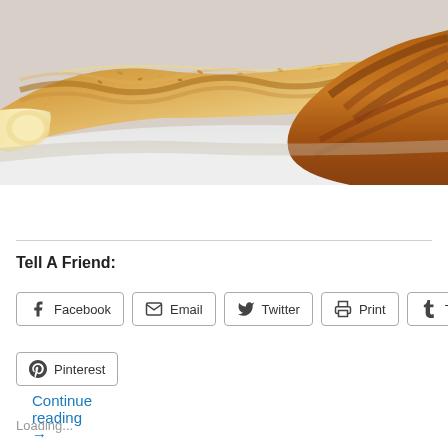[Figure (photo): Close-up photo of braided bread loaves on a white surface, golden-brown crust with sesame seeds visible]
Continue reading →
Tell A Friend:
Facebook  Email  Twitter  Print  Tumblr
Pinterest
Loading...